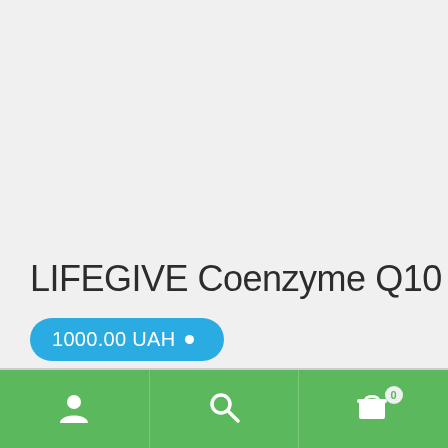LIFEGIVE Coenzyme Q10
1000.00 UAH
[Figure (screenshot): Bottom navigation bar with user/account icon, search icon, and shopping cart icon with badge showing 0, on a green background]